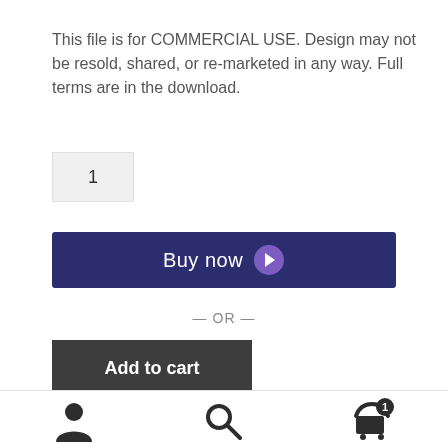This file is for COMMERCIAL USE. Design may not be resold, shared, or re-marketed in any way. Full terms are in the download.
1
[Figure (other): Buy now button with purple chevron icon on dark navy background]
— OR —
[Figure (other): Add to cart button with dark gray background]
[Figure (other): Bottom navigation bar with user icon, search icon, and cart icon with badge showing 1]